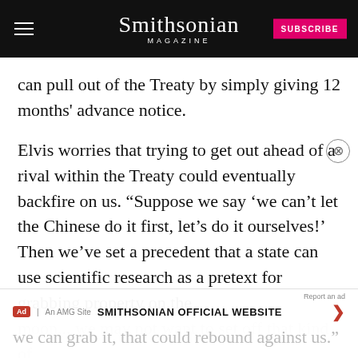Smithsonian Magazine | SUBSCRIBE
can pull out of the Treaty by simply giving 12 months' advance notice.
Elvis worries that trying to get out ahead of a rival within the Treaty could eventually backfire on us. “Suppose we say ‘we can’t let the Chinese do it first, let’s do it ourselves!’ Then we’ve set a precedent that a state can use scientific research as a pretext for grabbing property on the moon... we may not want to set off that kind of scramble precedent, thinking we can grab it, that could rebound against us.”
SMITHSONIAN OFFICIAL WEBSITE